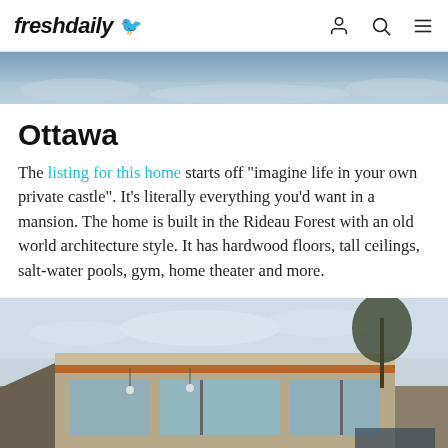freshdaily [logo with bird icon] [user icon] [search icon] [menu icon]
[Figure (photo): Snowy winter landscape banner image, blue-grey tones]
Ottawa
The listing for this home starts off "imagine life in your own private castle". It's literally everything you'd want in a mansion. The home is built in the Rideau Forest with an old world architecture style. It has hardwood floors, tall ceilings, salt-water pools, gym, home theater and more.
[Figure (photo): Exterior photo of a modern mansion with wood and concrete facade, large windows, snowy surroundings]